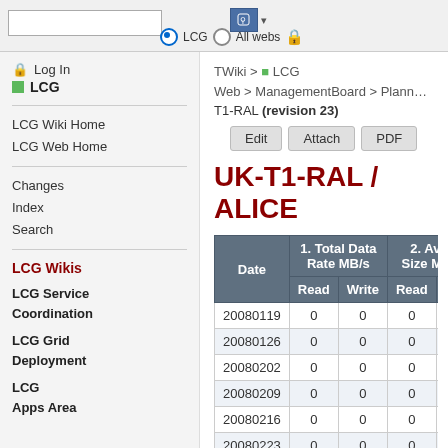TWiki > LCG Web > ManagementBoard > Plann... T1-RAL (revision 23)
Log In
LCG
LCG Wiki Home
LCG Web Home
Changes
Index
Search
LCG Wikis
LCG Service Coordination
LCG Grid Deployment
LCG Apps Area
UK-T1-RAL / ALICE
| Date | 1. Total Data Rate MB/s Read | 1. Total Data Rate MB/s Write | 2. Avg. Size MB Read | 2. Avg. Size MB W... |
| --- | --- | --- | --- | --- |
| 20080119 | 0 | 0 | 0 |  |
| 20080126 | 0 | 0 | 0 |  |
| 20080202 | 0 | 0 | 0 |  |
| 20080209 | 0 | 0 | 0 |  |
| 20080216 | 0 | 0 | 0 |  |
| 20080223 | 0 | 0 | 0 |  |